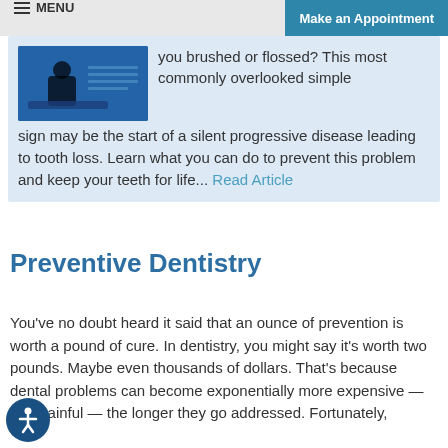MENU | Make an Appointment
you brushed or flossed? This most commonly overlooked simple sign may be the start of a silent progressive disease leading to tooth loss. Learn what you can do to prevent this problem and keep your teeth for life... Read Article
Preventive Dentistry
You've no doubt heard it said that an ounce of prevention is worth a pound of cure. In dentistry, you might say it's worth two pounds. Maybe even thousands of dollars. That's because dental problems can become exponentially more expensive — and painful — the longer they go addressed. Fortunately,